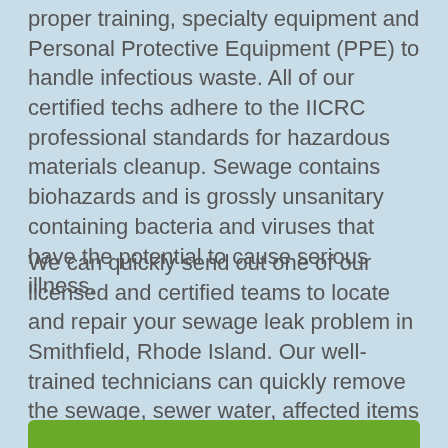proper training, specialty equipment and Personal Protective Equipment (PPE) to handle infectious waste. All of our certified techs adhere to the IICRC professional standards for hazardous materials cleanup. Sewage contains biohazards and is grossly unsanitary containing bacteria and viruses that have the potential to cause serious illness.
We can quickly send out one of our licensed and certified teams to locate and repair your sewage leak problem in Smithfield, Rhode Island. Our well-trained technicians can quickly remove the sewage, sewer water, affected items fast and effectively using state-of-the-art equipment. We will be able to safely clean, dry and sanitize your affected property. Our team will also disinfect and sanitize the infected areas to prevent the spread of biohazards such as bacteria, viruses, parasites, fungi and mold.